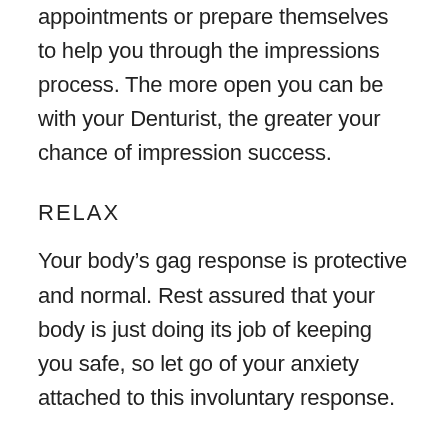appointments or prepare themselves to help you through the impressions process. The more open you can be with your Denturist, the greater your chance of impression success.
RELAX
Your body’s gag response is protective and normal. Rest assured that your body is just doing its job of keeping you safe, so let go of your anxiety attached to this involuntary response.
It may help to know that your Denturist